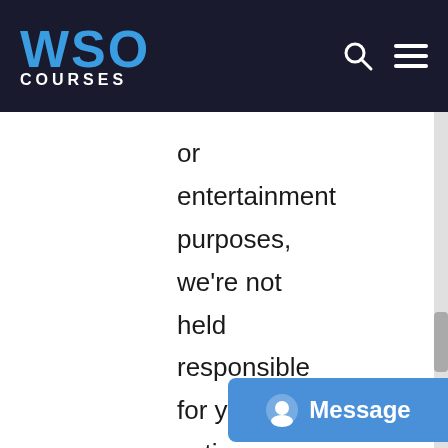WSO COURSES
or entertainment purposes, we're not held responsible for your actions or anything as a result of this page. If you want to use a software downloaded